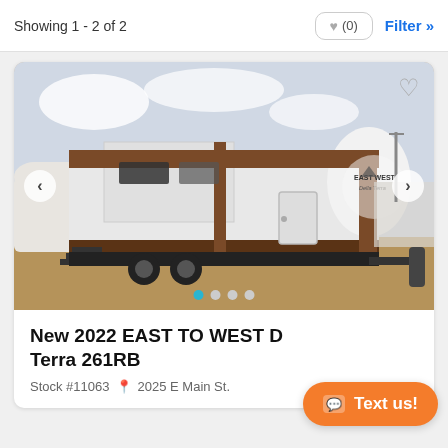Showing 1 - 2 of 2
[Figure (photo): East to West Della Terra travel trailer RV parked in a dealer lot, white and brown exterior, dual axle, slideout visible, East West logo on front cap. Navigation arrows on sides.]
New 2022 EAST TO WEST Della Terra 261RB
Stock #11063  2025 E Main St.